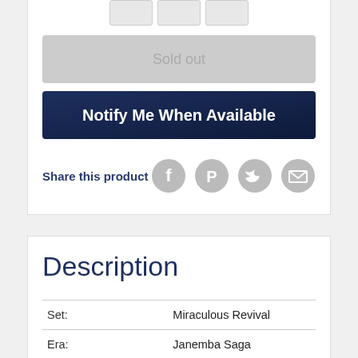[Figure (screenshot): Quantity selector row with three gray buttons]
Sold out
Notify Me When Available
Share this product
[Figure (infographic): Social share icons: Facebook, Pinterest, Twitter, Email]
Description
|  |  |
| --- | --- |
| Set: | Miraculous Revival |
| Era: | Janemba Saga |
| Rarity: | Special Rare |
| Game character: | Gotenks |